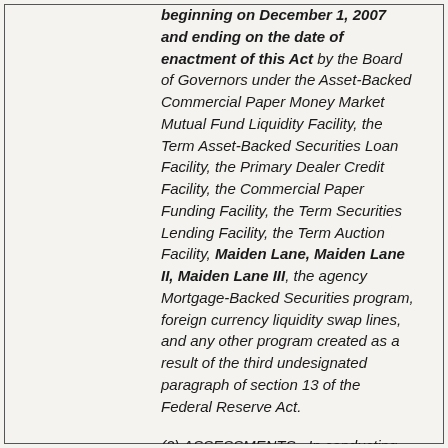beginning on December 1, 2007 and ending on the date of enactment of this Act by the Board of Governors under the Asset-Backed Commercial Paper Money Market Mutual Fund Liquidity Facility, the Term Asset-Backed Securities Loan Facility, the Primary Dealer Credit Facility, the Commercial Paper Funding Facility, the Term Securities Lending Facility, the Term Auction Facility, Maiden Lane, Maiden Lane II, Maiden Lane III, the agency Mortgage-Backed Securities program, foreign currency liquidity swap lines, and any other program created as a result of the third undesignated paragraph of section 13 of the Federal Reserve Act.
(2) ASSESSMENTS.–In conducting the